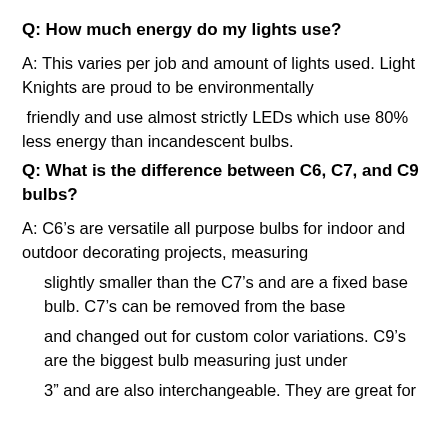Q: How much energy do my lights use?
A: This varies per job and amount of lights used. Light Knights are proud to be environmentally
friendly and use almost strictly LEDs which use 80% less energy than incandescent bulbs.
Q: What is the difference between C6, C7, and C9 bulbs?
A: C6’s are versatile all purpose bulbs for indoor and outdoor decorating projects, measuring
slightly smaller than the C7’s and are a fixed base bulb. C7’s can be removed from the base
and changed out for custom color variations. C9’s are the biggest bulb measuring just under
3” and are also interchangeable. They are great for